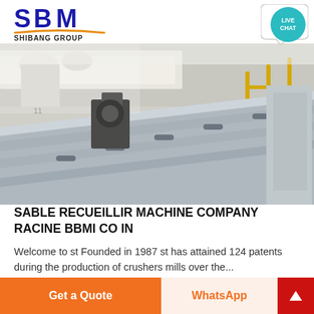[Figure (logo): SBM Shibang Group logo with blue bold letters and orange underline arc]
[Figure (photo): Industrial machinery photo showing conveyor belts and crushing equipment in a factory setting]
SABLE RECUEILLIR MACHINE COMPANY RACINE BBMI CO IN
Welcome to st Founded in 1987 st has attained 124 patents during the production of crushers mills over the...
Get a Quote | WhatsApp | ^